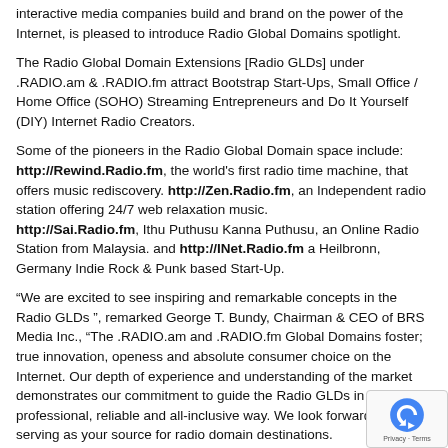interactive media companies build and brand on the power of the Internet, is pleased to introduce Radio Global Domains spotlight.
The Radio Global Domain Extensions [Radio GLDs] under .RADIO.am & .RADIO.fm attract Bootstrap Start-Ups, Small Office / Home Office (SOHO) Streaming Entrepreneurs and Do It Yourself (DIY) Internet Radio Creators.
Some of the pioneers in the Radio Global Domain space include: http://Rewind.Radio.fm, the world's first radio time machine, that offers music rediscovery. http://Zen.Radio.fm, an Independent radio station offering 24/7 web relaxation music. http://Sai.Radio.fm, Ithu Puthusu Kanna Puthusu, an Online Radio Station from Malaysia. and http://INet.Radio.fm a Heilbronn, Germany Indie Rock & Punk based Start-Up.
“We are excited to see inspiring and remarkable concepts in the Radio GLDs ”, remarked George T. Bundy, Chairman & CEO of BRS Media Inc., “The .RADIO.am and .RADIO.fm Global Domains foster; true innovation, openess and absolute consumer choice on the Internet. Our depth of experience and understanding of the market demonstrates our commitment to guide the Radio GLDs in a professional, reliable and all-inclusive way. We look forward to serving as your source for radio domain destinations.